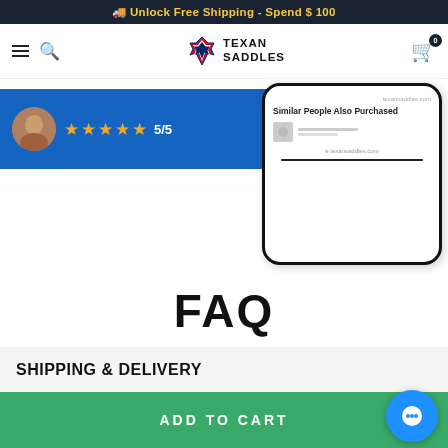🚚 Unlock Free Shipping - Spend $ 100
[Figure (screenshot): Texan Saddles website navigation bar with hamburger menu, search icon, logo with Texas flag state icon, and shopping cart with 0 badge]
[Figure (screenshot): Blue review bubble showing 5 gold stars rated 5/5, and a phone mockup showing 'Similar People Also Purchased' section on texansaddles.com]
FAQ
SHIPPING & DELIVERY
ADD TO CART